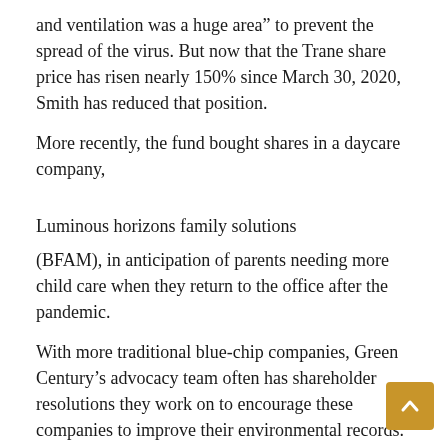and ventilation was a huge area” to prevent the spread of the virus. But now that the Trane share price has risen nearly 150% since March 30, 2020, Smith has reduced that position.
More recently, the fund bought shares in a daycare company,
Luminous horizons family solutions
(BFAM), in anticipation of parents needing more child care when they return to the office after the pandemic.
With more traditional blue-chip companies, Green Century’s advocacy team often has shareholder resolutions they work on to encourage these companies to improve their environmental records. More recently, Green Century filed a “Right to Repair” resolution with Apple to sell spare parts for its devices so that consumers can repair them instead of throwing them away, in an effort to reduce electronic waste. . The